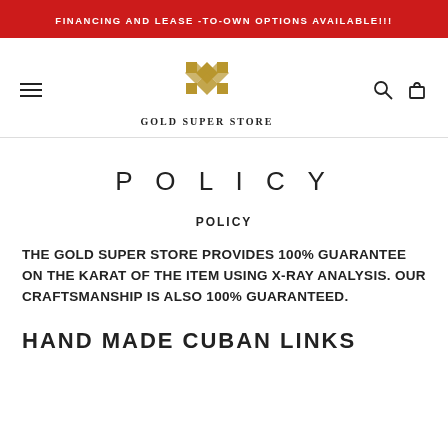FINANCING AND LEASE -TO-OWN OPTIONS AVAILABLE!!!
[Figure (logo): Gold Super Store logo — gold geometric diamond pattern with text GOLD SUPER STORE below]
POLICY
POLICY
THE GOLD SUPER STORE PROVIDES 100% GUARANTEE ON THE KARAT OF THE ITEM USING X-RAY ANALYSIS. OUR CRAFTSMANSHIP IS ALSO 100% GUARANTEED.
HAND MADE CUBAN LINKS